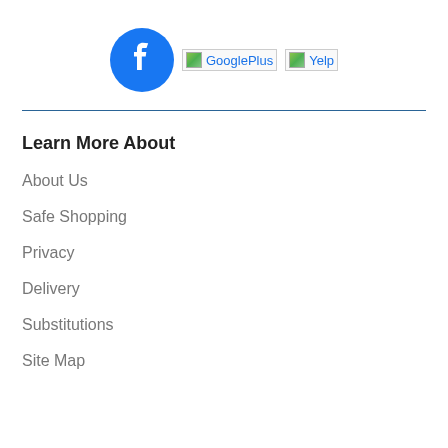[Figure (logo): Social media icons: Facebook (blue circle with white f), GooglePlus broken image placeholder, Yelp broken image placeholder]
Learn More About
About Us
Safe Shopping
Privacy
Delivery
Substitutions
Site Map